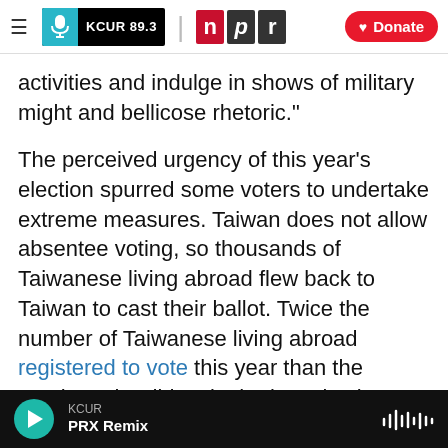KCUR 89.3 | npr | Donate
activities and indulge in shows of military might and bellicose rhetoric."
The perceived urgency of this year's election spurred some voters to undertake extreme measures. Taiwan does not allow absentee voting, so thousands of Taiwanese living abroad flew back to Taiwan to cast their ballot. Twice the number of Taiwanese living abroad registered to vote this year than the number who did so in the last election.
Among those flying to Taipei specifically for the election: Hong Kong residents.
KCUR PRX Remix